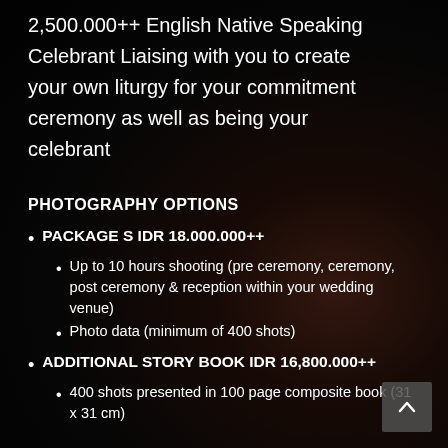2,500.000++ English Native Speaking Celebrant Liaising with you to create your own liturgy for your commitment ceremony as well as being your celebrant
PHOTOGRAPHY OPTIONS
PACKAGE S IDR 18.000.000++
Up to 10 hours shooting (pre ceremony, ceremony, post ceremony & reception within your wedding venue)
Photo data (minimum of 400 shots)
ADDITIONAL STORY BOOK IDR 16,800.000++
400 shots presented in 100 page composite book (31 x 31 cm)